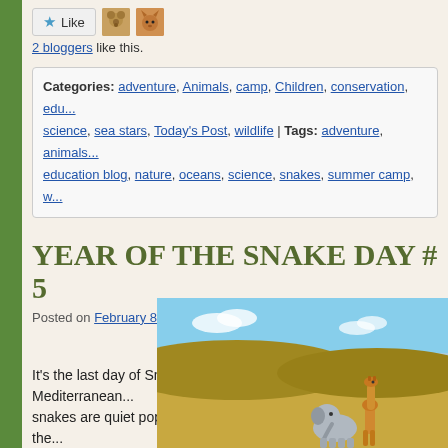[Figure (other): Like button with star icon and two blogger avatar thumbnails (bear and cat)]
2 bloggers like this.
Categories: adventure, Animals, camp, Children, conservation, edu... science, sea stars, Today's Post, wildlife | Tags: adventure, animals... education blog, nature, oceans, science, snakes, summer camp, w...
YEAR OF THE SNAKE DAY # 5
Posted on February 8, 2013 by Ellie and Edmond ©
YEAR OF THE SNAKE DAY
It's the last day of Snake week and we're going to the Mediterranean... snakes are quiet popular! Are you ready for our last adventure of the...
[Figure (photo): Photo of toy animals (elephant and giraffe figures) in a grassy savanna landscape with blue sky]